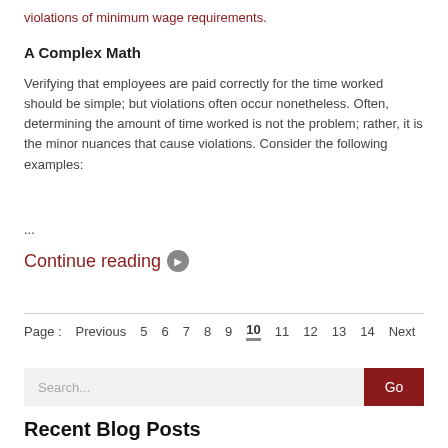violations of minimum wage requirements.
A Complex Math
Verifying that employees are paid correctly for the time worked should be simple; but violations often occur nonetheless. Often, determining the amount of time worked is not the problem; rather, it is the minor nuances that cause violations. Consider the following examples:
...
Continue reading ▶
Page :  Previous  5  6  7  8  9  10  11  12  13  14  Next
Search...  Go
Recent Blog Posts